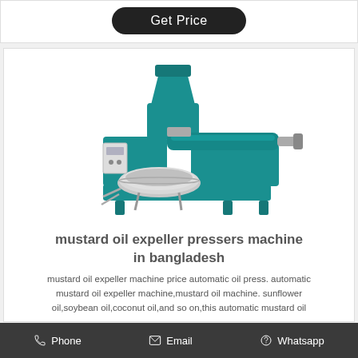Get Price
[Figure (photo): Industrial teal/green colored mustard oil expeller press machine with silver circular filter bowl, control panel, and screw press mechanism on a white background.]
mustard oil expeller pressers machine in bangladesh
mustard oil expeller machine price automatic oil press. automatic mustard oil expeller machine,mustard oil machine. sunflower oil,soybean oil,coconut oil,and so on,this automatic mustard oil
Phone   Email   Whatsapp